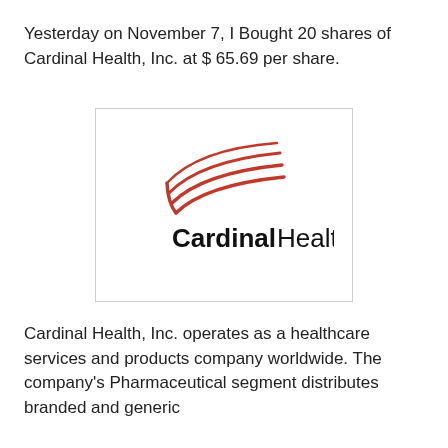Yesterday on November 7, I Bought 20 shares of Cardinal Health, Inc. at $ 65.69 per share.
[Figure (logo): Cardinal Health logo with red swoosh/wing graphic above bold text reading 'CardinalHealth']
Cardinal Health, Inc. operates as a healthcare services and products company worldwide. The company's Pharmaceutical segment distributes branded and generic